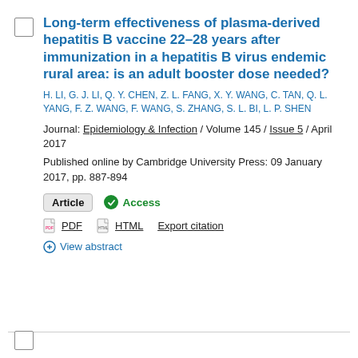Long-term effectiveness of plasma-derived hepatitis B vaccine 22–28 years after immunization in a hepatitis B virus endemic rural area: is an adult booster dose needed?
H. LI, G. J. LI, Q. Y. CHEN, Z. L. FANG, X. Y. WANG, C. TAN, Q. L. YANG, F. Z. WANG, F. WANG, S. ZHANG, S. L. BI, L. P. SHEN
Journal: Epidemiology & Infection / Volume 145 / Issue 5 / April 2017
Published online by Cambridge University Press: 09 January 2017, pp. 887-894
Article  ✓ Access
PDF  HTML  Export citation
+ View abstract